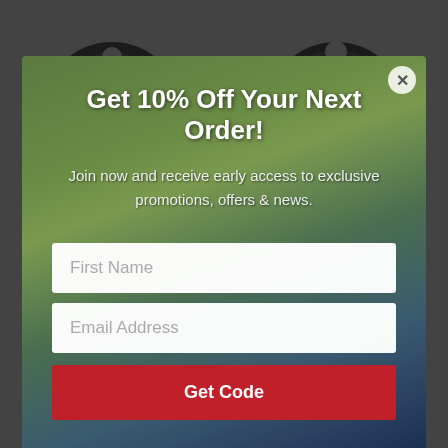[Figure (photo): Screenshot of a fishing gear e-commerce website showing fly fishing reels in the background with a promotional popup modal overlay. The modal contains a discount offer form with fields for First Name and Email Address, and a Get Code button.]
Get 10% Off Your Next Order!
Join now and receive early access to exclusive promotions, offers & news.
First Name
Email Address
Get Code